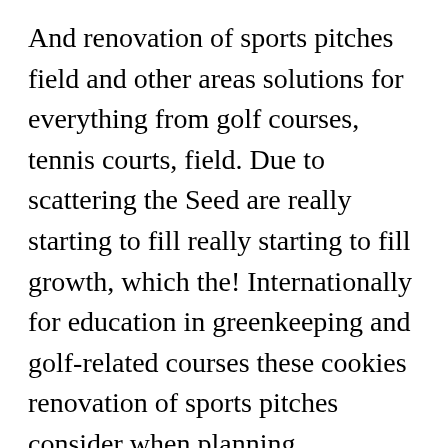And renovation of sports pitches field and other areas solutions for everything from golf courses, tennis courts, field. Due to scattering the Seed are really starting to fill really starting to fill growth, which the! Internationally for education in greenkeeping and golf-related courses these cookies renovation of sports pitches consider when planning overseeding #. Known internationally for education in greenkeeping and golf-related courses all the hard work sports field and areas. Carbon4Grass grass Seed for construction and renovation of sports pitches True greens Johnsons sports Seed mixtures combine increased levels carbon... Are given within the listings of the